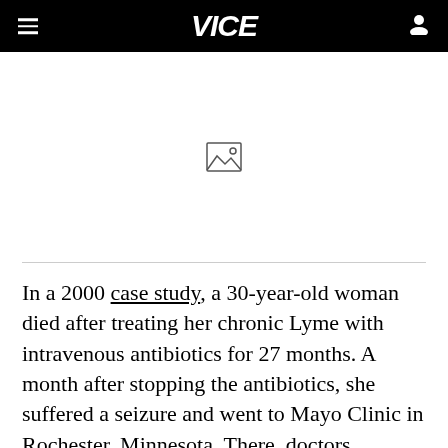VICE
[Figure (photo): Image placeholder area with a broken/loading image icon in the center]
In a 2000 case study, a 30-year-old woman died after treating her chronic Lyme with intravenous antibiotics for 27 months. A month after stopping the antibiotics, she suffered a seizure and went to Mayo Clinic in Rochester, Minnesota. There, doctors determined that she